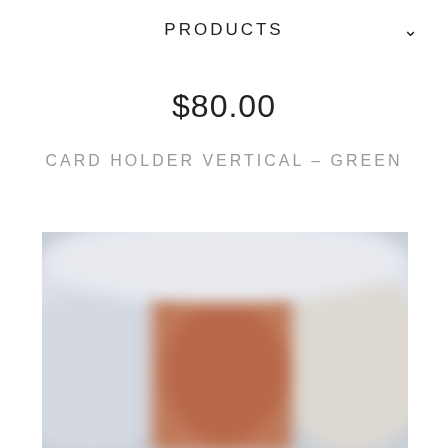PRODUCTS
$80.00
CARD HOLDER VERTICAL – GREEN
[Figure (photo): Blurred product photo showing a vertical card holder with a warm brown/terracotta color against a light gray-blue background]